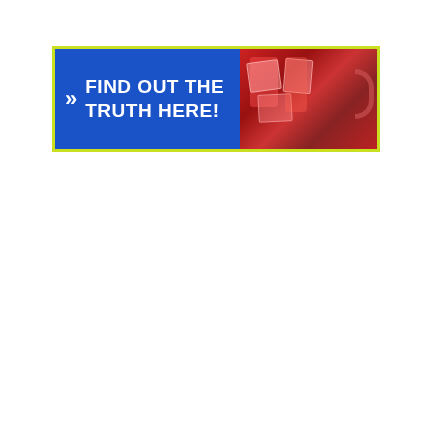[Figure (infographic): Promotional banner with lime green border. Left side has blue background with white double-chevron arrows and bold white text reading 'FIND OUT THE TRUTH HERE!'. Right side shows a red drink/juice in a glass with ice cubes.]